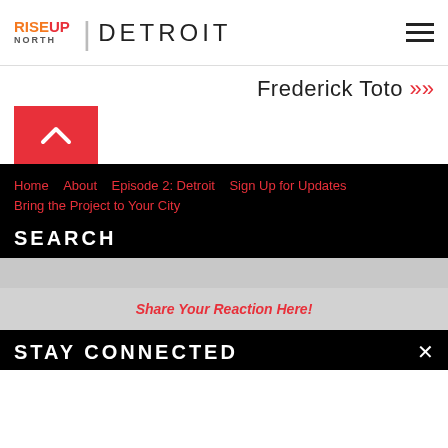RISE UP NORTH | DETROIT
Frederick Toto >>
[Figure (other): Red back-to-top button with white upward chevron arrow]
Home
About
Episode 2: Detroit
Sign Up for Updates
Bring the Project to Your City
SEARCH
Share Your Reaction Here!
STAY CONNECTED